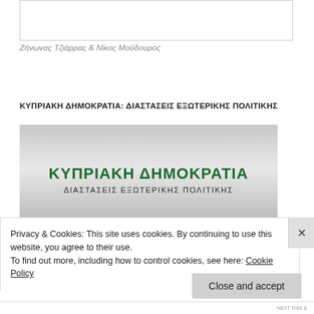[Figure (other): White rectangular box at the top of the page, bordered in light gray]
Ζήνωνας Τζιάρρας & Νίκος Μούδουρος
ΚΥΠΡΙΑΚΗ ΔΗΜΟΚΡΑΤΙΑ: ΔΙΑΣΤΑΣΕΙΣ ΕΞΩΤΕΡΙΚΗΣ ΠΟΛΙΤΙΚΗΣ
[Figure (illustration): Book cover image with gray/silver background. Title in bold green text reads ΚΥΠΡΙΑΚΗ ΔΗΜΟΚΡΑΤΙΑ. Subtitle below in dark letters reads ΔΙΑΣΤΑΣΕΙΣ ΕΞΩΤΕΡΙΚΗΣ ΠΟΛΙΤΙΚΗΣ]
Privacy & Cookies: This site uses cookies. By continuing to use this website, you agree to their use.
To find out more, including how to control cookies, see here: Cookie Policy
Close and accept